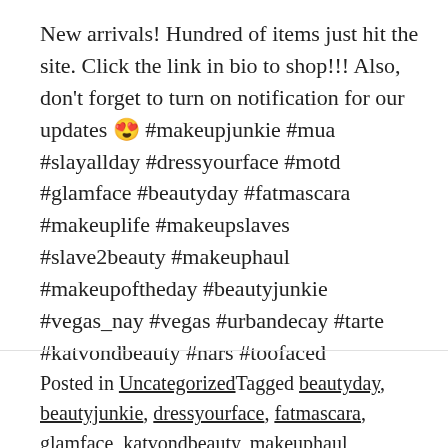New arrivals! Hundred of items just hit the site. Click the link in bio to shop!!! Also, don't forget to turn on notification for our updates 😍 #makeupjunkie #mua #slayallday #dressyourface #motd #glamface #beautyday #fatmascara #makeuplife #makeupslaves #slave2beauty #makeuphaul #makeupoftheday #beautyjunkie #vegas_nay #vegas #urbandecay #tarte #katvondbeauty #nars #toofaced
Posted in UncategorizedTagged beautyday, beautyjunkie, dressyourface, fatmascara, glamface, katvondbeauty, makeuphaul,